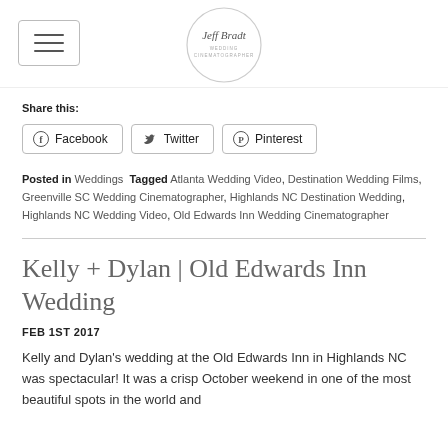Jeff Bradt Wedding Cinematographer
Share this:
Facebook  Twitter  Pinterest
Posted in Weddings  Tagged Atlanta Wedding Video, Destination Wedding Films, Greenville SC Wedding Cinematographer, Highlands NC Destination Wedding, Highlands NC Wedding Video, Old Edwards Inn Wedding Cinematographer
Kelly + Dylan | Old Edwards Inn Wedding
FEB 1ST 2017
Kelly and Dylan's wedding at the Old Edwards Inn in Highlands NC was spectacular! It was a crisp October weekend in one of the most beautiful spots in the world and